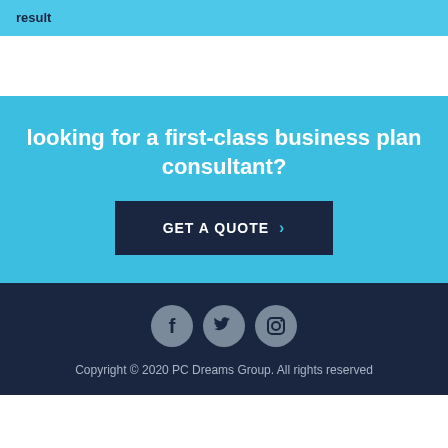result
looking for a first-class business plan consultant?
GET A QUOTE >
[Figure (illustration): Social media icons: Facebook, Twitter, Instagram in gray circles on dark navy background]
Copyright © 2020 PC Dreams Group. All rights reserved